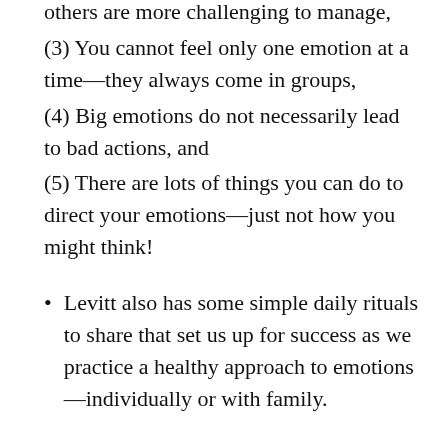others are more challenging to manage,
(3) You cannot feel only one emotion at a time—they always come in groups,
(4) Big emotions do not necessarily lead to bad actions, and
(5) There are lots of things you can do to direct your emotions—just not how you might think!
Levitt also has some simple daily rituals to share that set us up for success as we practice a healthy approach to emotions—individually or with family.